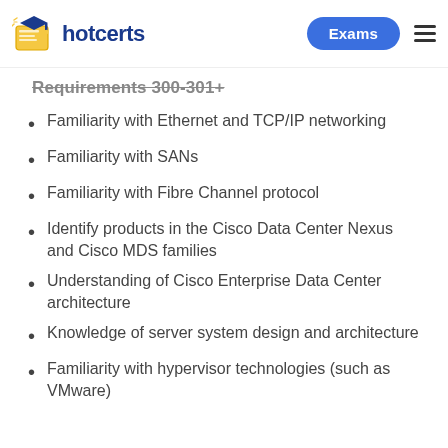hotcerts | Exams
Requirements 300-301
Familiarity with Ethernet and TCP/IP networking
Familiarity with SANs
Familiarity with Fibre Channel protocol
Identify products in the Cisco Data Center Nexus and Cisco MDS families
Understanding of Cisco Enterprise Data Center architecture
Knowledge of server system design and architecture
Familiarity with hypervisor technologies (such as VMware)